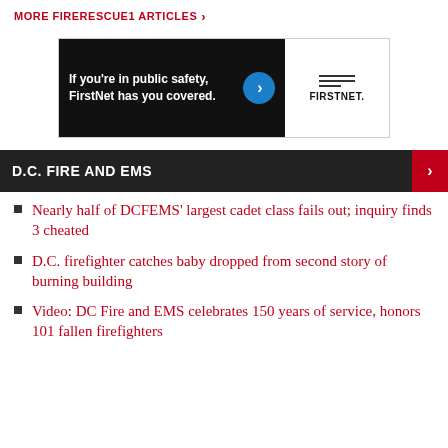MORE FIRERESCUE1 ARTICLES >
[Figure (advertisement): FirstNet advertisement: 'If you're in public safety, FirstNet has you covered.' with blue chevron circle and FirstNet logo on white background]
D.C. FIRE AND EMS
Nearly half of DCFEMS' largest cadet class fails out; inquiry finds 3 cheated
D.C. firefighter catches baby dropped from second story of burning building
Video: DC Fire and EMS celebrates 150 years of service, honors 101 fallen firefighters